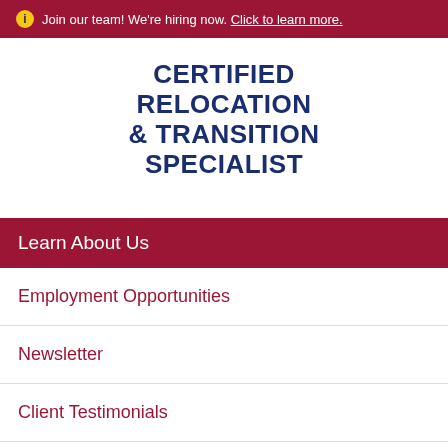ⓘ Join our team! We're hiring now. Click to learn more.
[Figure (logo): Certified Relocation & Transition Specialist logo text in bold dark blue uppercase letters]
Learn About Us
Employment Opportunities
Newsletter
Client Testimonials
Resources